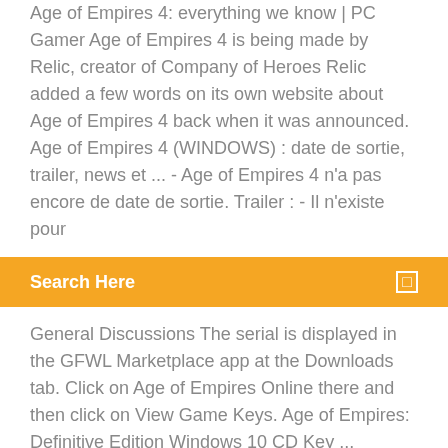Age of Empires 4: everything we know | PC Gamer Age of Empires 4 is being made by Relic, creator of Company of Heroes Relic added a few words on its own website about Age of Empires 4 back when it was announced. Age of Empires 4 (WINDOWS) : date de sortie, trailer, news et ... - Age of Empires 4 n'a pas encore de date de sortie. Trailer : - Il n'existe pour
[Figure (other): Orange search bar with text 'Search Here' and a small square icon on the right]
General Discussions The serial is displayed in the GFWL Marketplace app at the Downloads tab. Click on Age of Empires Online there and then click on View Game Keys. Age of Empires: Definitive Edition Windows 10 CD Key ...
https://tweetetsubsua.wixsite.com/tweetetsubsua/blog/license-key-age-of-empire-4 https://jkneed.hatenablog.com/entry/2019/02/07/195652 https://tweetetsubsua.wixsite.com/tweetetsubsua/blog/license-key-age-of-empire-4 https://www.allkeyshop.com/blog/buy-age-